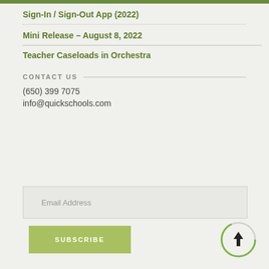Sign-In / Sign-Out App (2022)
Mini Release – August 8, 2022
Teacher Caseloads in Orchestra
CONTACT US
(650) 399 7075
info@quickschools.com
Email Address
SUBSCRIBE